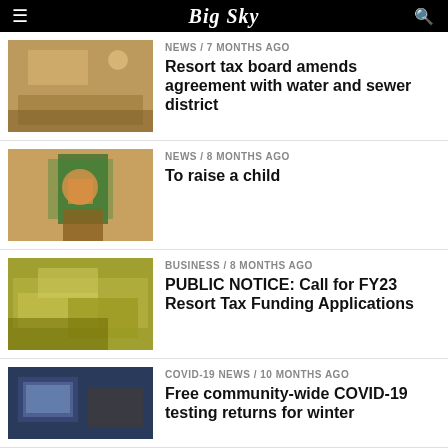Big Sky
NEWS / 7 months ago
Resort tax board amends agreement with water and sewer district
NEWS / 8 months ago
To raise a child
BUSINESS / 8 months ago
PUBLIC NOTICE: Call for FY23 Resort Tax Funding Applications
COVID-19 NEWS / 10 months ago
Free community-wide COVID-19 testing returns for winter
NEWS / 10 months ago
Inaugural CommUNITY Forum fosters